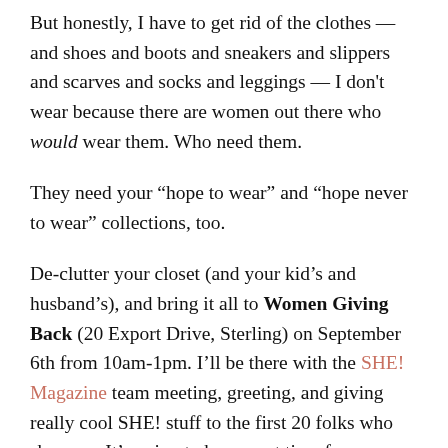But honestly, I have to get rid of the clothes — and shoes and boots and sneakers and slippers and scarves and socks and leggings — I don't wear because there are women out there who would wear them. Who need them.
They need your “hope to wear” and “hope never to wear” collections, too.
De-clutter your closet (and your kid’s and husband’s), and bring it all to Women Giving Back (20 Export Drive, Sterling) on September 6th from 10am-1pm. I’ll be there with the SHE! Magazine team meeting, greeting, and giving really cool SHE! stuff to the first 20 folks who show up. It’s going to be a great time for a